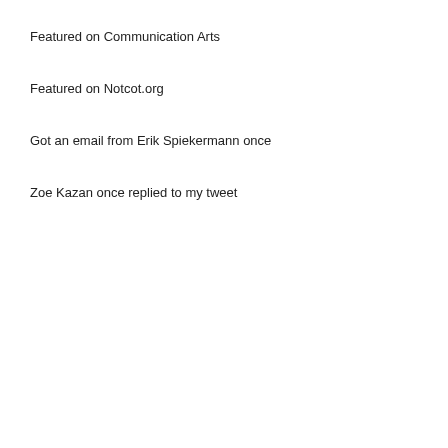Featured on Communication Arts
Featured on Notcot.org
Got an email from Erik Spiekermann once
Zoe Kazan once replied to my tweet